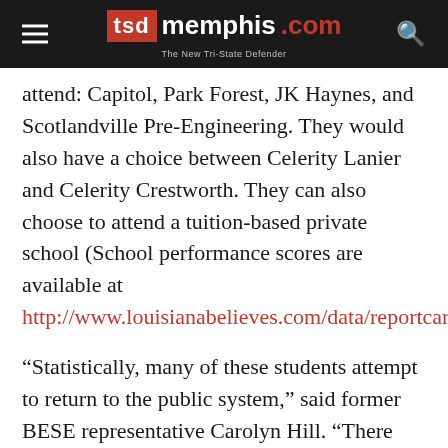TSD memphis.com The New Tri-State Defender
attend: Capitol, Park Forest, JK Haynes, and Scotlandville Pre-Engineering. They would also have a choice between Celerity Lanier and Celerity Crestworth. They can also choose to attend a tuition-based private school (School performance scores are available at http://www.louisianabelieves.com/data/reportcards/2016.)
“Statistically, many of these students attempt to return to the public system,” said former BESE representative Carolyn Hill. “There will be an aggressive push to move these students into other